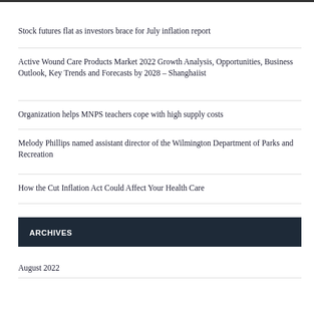Stock futures flat as investors brace for July inflation report
Active Wound Care Products Market 2022 Growth Analysis, Opportunities, Business Outlook, Key Trends and Forecasts by 2028 – Shanghaiist
Organization helps MNPS teachers cope with high supply costs
Melody Phillips named assistant director of the Wilmington Department of Parks and Recreation
How the Cut Inflation Act Could Affect Your Health Care
ARCHIVES
August 2022